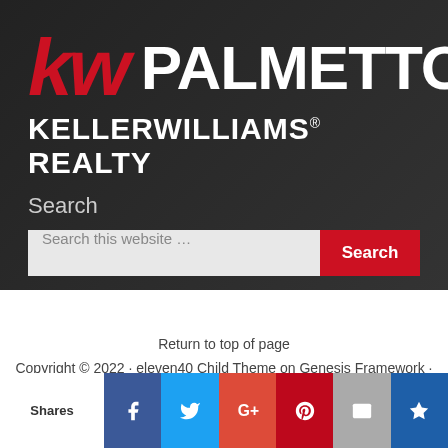[Figure (logo): KW Palmetto Keller Williams Realty logo with red 'kw' letters and white 'PALMETTO' and 'KELLER WILLIAMS REALTY' text on dark background]
Search
Search this website …
Return to top of page
Copyright © 2022 · eleven40 Child Theme on Genesis Framework · WordPress · Log in
[Figure (infographic): Social share bar with Shares label and icons for Facebook, Twitter, Google+, Pinterest, Email, and a crown/bookmark icon]